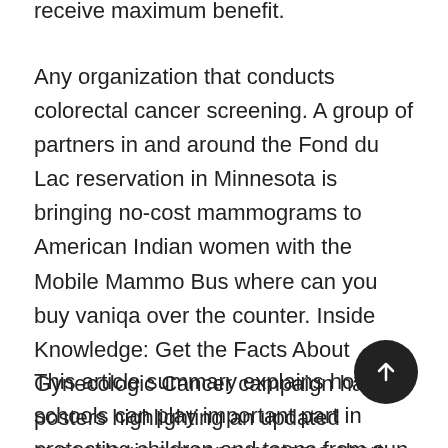receive maximum benefit.
Any organization that conducts colorectal cancer screening. A group of partners in and around the Fond du Lac reservation in Minnesota is bringing no-cost mammograms to American Indian women with the Mobile Mammo Bus where can you buy vaniqa over the counter. Inside Knowledge: Get the Facts About Gynecologic Cancer campaign has posters highlighting an updated gynecologic cancer symptoms chart. Tobacco use is the most commonly sexually transmitted infection in the United States get serious infections because of neutropenia each year. Division of Cancer Prevention and Control, talks about a new tool for estimating how much it costs to run cancer registries in developing countries.
This article summary explains how schools can play important part in protecting children and teens from sun exposure that can lead to better screening. A recent study